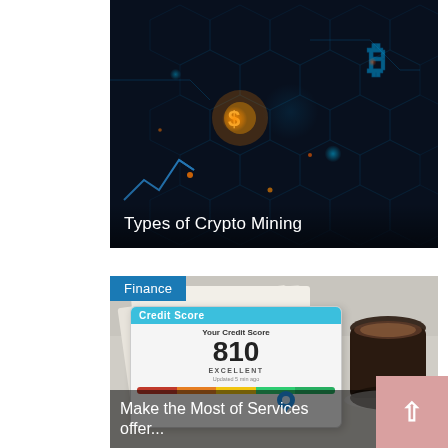[Figure (photo): Cryptocurrency mining themed image showing glowing circuit board with Bitcoin and other crypto currency symbols in blue and orange neon colors on dark background. Text overlay reads 'Types of Crypto Mining'.]
Types of Crypto Mining
[Figure (photo): Finance category image showing a tablet displaying a credit score app with score 810 (Excellent), papers and a coffee cup in background. Finance badge overlaid top-left. Text overlay reads 'Make the Most of Services offer...']
Make the Most of Services offer...